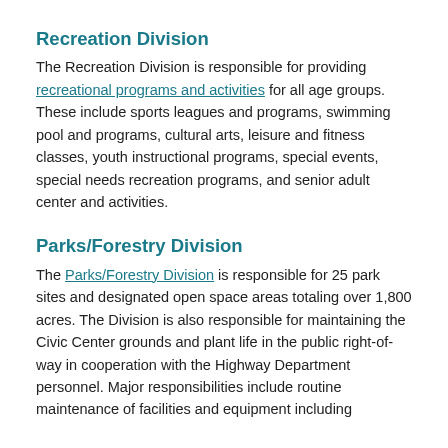Recreation Division
The Recreation Division is responsible for providing recreational programs and activities for all age groups. These include sports leagues and programs, swimming pool and programs, cultural arts, leisure and fitness classes, youth instructional programs, special events, special needs recreation programs, and senior adult center and activities.
Parks/Forestry Division
The Parks/Forestry Division is responsible for 25 park sites and designated open space areas totaling over 1,800 acres. The Division is also responsible for maintaining the Civic Center grounds and plant life in the public right-of-way in cooperation with the Highway Department personnel. Major responsibilities include routine maintenance of facilities and equipment including the Utilities Aquatic Center, providing...